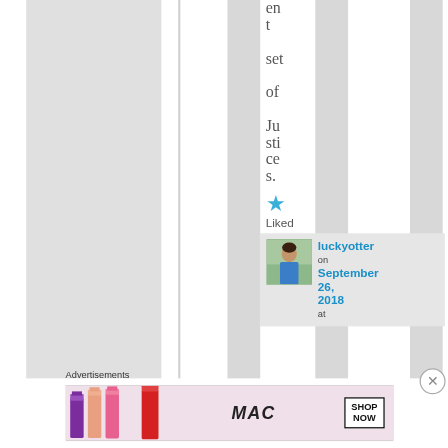ent set of Justices.
Liked
luckyotter on September 26, 2018 at
Advertisements
[Figure (photo): MAC cosmetics advertisement banner showing lipsticks in purple, peach, pink and red colors, MAC logo in cursive script, and a SHOP NOW button]